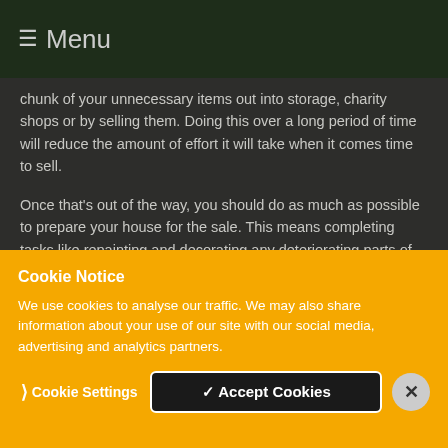≡ Menu
chunk of your unnecessary items out into storage, charity shops or by selling them. Doing this over a long period of time will reduce the amount of effort it will take when it comes time to sell.
Once that's out of the way, you should do as much as possible to prepare your house for the sale. This means completing tasks like repainting and decorating any deteriorating parts of the home, thoroughly cleaning all of the carpets and floors before any photographs are taken
Cookie Notice
We use cookies to analyse our traffic. We may also share information about your use of our site with our social media, advertising and analytics partners.
❯ Cookie Settings    ✓ Accept Cookies    ✕